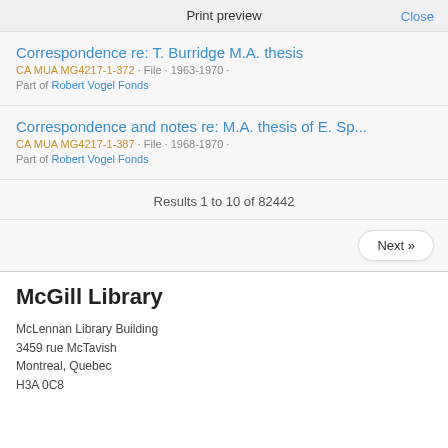Print preview   Close
Correspondence re: T. Burridge M.A. thesis
CA MUA MG4217-1-372 · File · 1963-1970 · Part of Robert Vogel Fonds
Correspondence and notes re: M.A. thesis of E. Sp...
CA MUA MG4217-1-387 · File · 1968-1970 · Part of Robert Vogel Fonds
Results 1 to 10 of 82442
Next »
McGill Library
McLennan Library Building
3459 rue McTavish
Montreal, Quebec
H3A 0C8